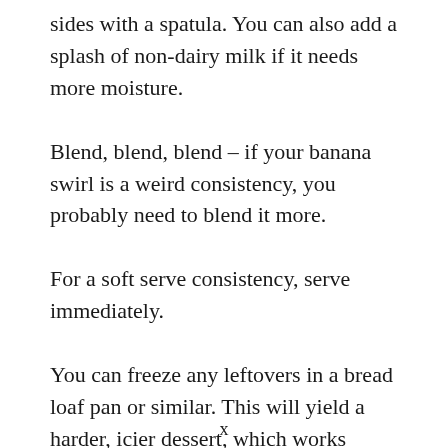sides with a spatula. You can also add a splash of non-dairy milk if it needs more moisture.
Blend, blend, blend – if your banana swirl is a weird consistency, you probably need to blend it more.
For a soft serve consistency, serve immediately.
You can freeze any leftovers in a bread loaf pan or similar. This will yield a harder, icier dessert, which works better for scooping into
x